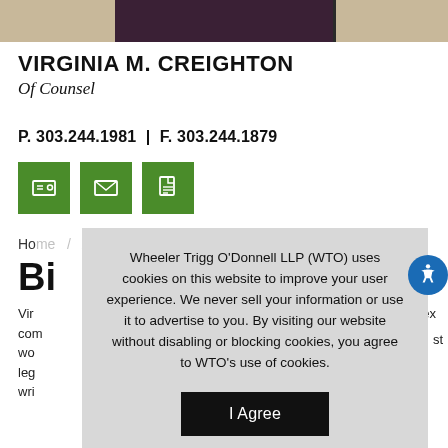[Figure (photo): Top banner photo strip showing partial portrait image with dark and tan sections]
VIRGINIA M. CREIGHTON
Of Counsel
P. 303.244.1981 | F. 303.244.1879
[Figure (infographic): Three green icon buttons: business card, email envelope, and document/PDF icons]
Home
Bi
Vir... ex com... wo... ist leg... wri...
Wheeler Trigg O'Donnell LLP (WTO) uses cookies on this website to improve your user experience. We never sell your information or use it to advertise to you. By visiting our website without disabling or blocking cookies, you agree to WTO's use of cookies.
I Agree